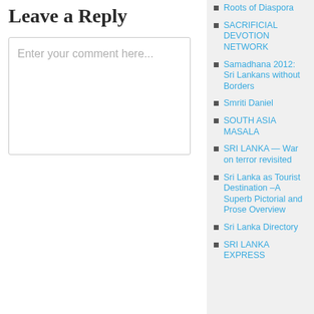Leave a Reply
Enter your comment here...
Roots of Diaspora
SACRIFICIAL DEVOTION NETWORK
Samadhana 2012: Sri Lankans without Borders
Smriti Daniel
SOUTH ASIA MASALA
SRI LANKA — War on terror revisited
Sri Lanka as Tourist Destination –A Superb Pictorial and Prose Overview
Sri Lanka Directory
SRI LANKA EXPRESS